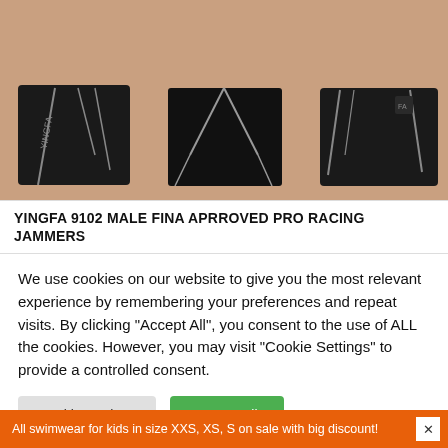[Figure (photo): Three male models wearing Yingfa 9102 black racing jammers/swimwear with grey accent stitching, showing different angles/styles of the swimwear]
YINGFA 9102 MALE FINA APRROVED PRO RACING JAMMERS
We use cookies on our website to give you the most relevant experience by remembering your preferences and repeat visits. By clicking "Accept All", you consent to the use of ALL the cookies. However, you may visit "Cookie Settings" to provide a controlled consent.
Cookie Settings | Accept All
All swimwear for kids in size XXS, XS, S on sale with big discount!